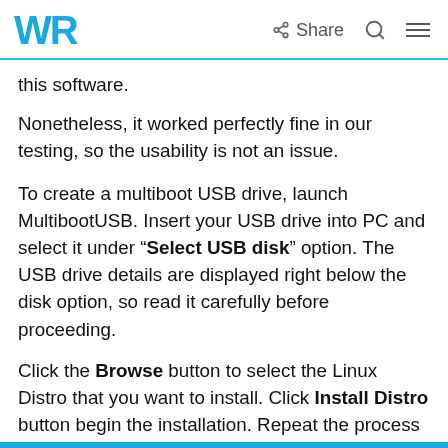WR   Share
this software.
Nonetheless, it worked perfectly fine in our testing, so the usability is not an issue.
To create a multiboot USB drive, launch MultibootUSB. Insert your USB drive into PC and select it under “Select USB disk” option. The USB drive details are displayed right below the disk option, so read it carefully before proceeding.
Click the Browse button to select the Linux Distro that you want to install. Click Install Distro button begin the installation. Repeat the process to install another Linux distro on the same drive.